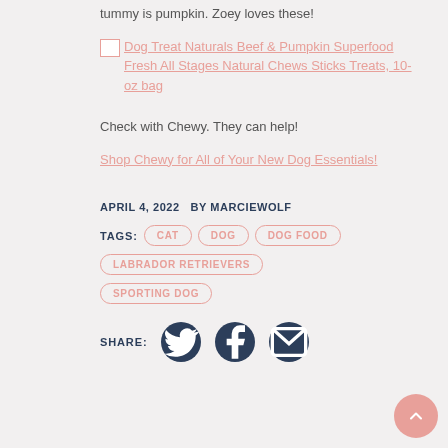tummy is pumpkin. Zoey loves these!
Dog Treat Naturals Beef & Pumpkin Superfood Fresh All Stages Natural Chews Sticks Treats, 10-oz bag
Check with Chewy. They can help!
Shop Chewy for All of Your New Dog Essentials!
APRIL 4, 2022  BY MARCIEWOLF
TAGS:  CAT  DOG  DOG FOOD  LABRADOR RETRIEVERS  SPORTING DOG
SHARE: